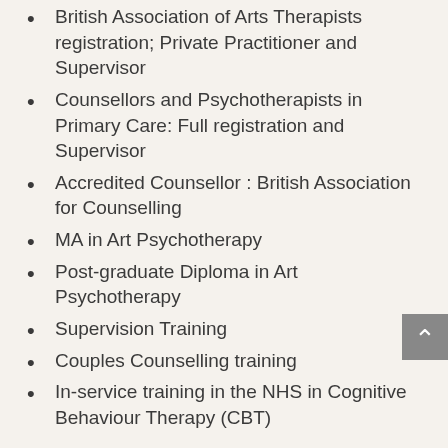British Association of Arts Therapists registration; Private Practitioner and Supervisor
Counsellors and Psychotherapists in Primary Care: Full registration and Supervisor
Accredited Counsellor : British Association for Counselling
MA in Art Psychotherapy
Post-graduate Diploma in Art Psychotherapy
Supervision Training
Couples Counselling training
In-service training in the NHS in Cognitive Behaviour Therapy (CBT)
Rates